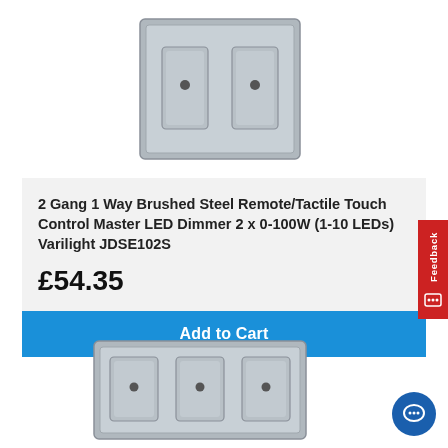[Figure (photo): 2 Gang 1 Way brushed steel light switch with two rocker switches, front view, on white background]
2 Gang 1 Way Brushed Steel Remote/Tactile Touch Control Master LED Dimmer 2 x 0-100W (1-10 LEDs) Varilight JDSE102S
£54.35
Add to Cart
[Figure (photo): 3 Gang brushed steel light switch with three rocker switches, front view, partially visible at bottom of page]